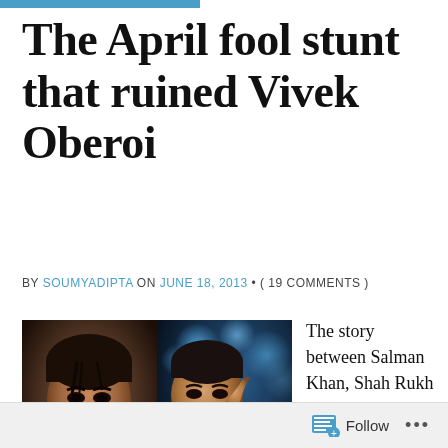The April fool stunt that ruined Vivek Oberoi
BY SOUMYADIPTA ON JUNE 18, 2013 • ( 19 COMMENTS )
[Figure (photo): Composite photo showing two Bollywood actors side by side: left half shows a man with an intense expression in dark lighting, right half shows another man in a red shirt with white jacket against a blue bokeh background.]
The story between Salman Khan, Shah Rukh Khan and their rivalry was